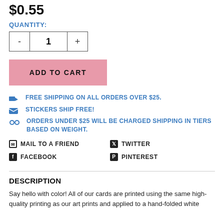$0.55
QUANTITY:
- 1 +
ADD TO CART
FREE SHIPPING ON ALL ORDERS OVER $25.
STICKERS SHIP FREE!
ORDERS UNDER $25 WILL BE CHARGED SHIPPING IN TIERS BASED ON WEIGHT.
MAIL TO A FRIEND
TWITTER
FACEBOOK
PINTEREST
DESCRIPTION
Say hello with color! All of our cards are printed using the same high-quality printing as our art prints and applied to a hand-folded white